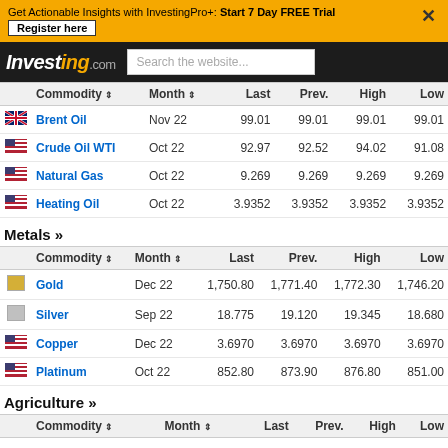Get Actionable Insights with InvestingPro+: Start 7 Day FREE Trial  Register here
[Figure (logo): Investing.com logo with search bar]
| Commodity | Month | Last | Prev. | High | Low |
| --- | --- | --- | --- | --- | --- |
| Brent Oil | Nov 22 | 99.01 | 99.01 | 99.01 | 99.01 |
| Crude Oil WTI | Oct 22 | 92.97 | 92.52 | 94.02 | 91.08 |
| Natural Gas | Oct 22 | 9.269 | 9.269 | 9.269 | 9.269 |
| Heating Oil | Oct 22 | 3.9352 | 3.9352 | 3.9352 | 3.9352 |
Metals »
| Commodity | Month | Last | Prev. | High | Low |
| --- | --- | --- | --- | --- | --- |
| Gold | Dec 22 | 1,750.80 | 1,771.40 | 1,772.30 | 1,746.20 |
| Silver | Sep 22 | 18.775 | 19.120 | 19.345 | 18.680 |
| Copper | Dec 22 | 3.6970 | 3.6970 | 3.6970 | 3.6970 |
| Platinum | Oct 22 | 852.80 | 873.90 | 876.80 | 851.00 |
Agriculture »
| Commodity | Month | Last | Prev. | High | Low |
| --- | --- | --- | --- | --- | --- |